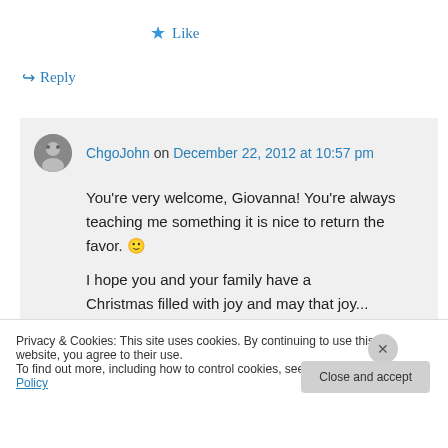★ Like
↪ Reply
ChgoJohn on December 22, 2012 at 10:57 pm
You're very welcome, Giovanna! You're always teaching me something it is nice to return the favor. 🙂 I hope you and your family have a Christmas filled with joy and may that joy...
Privacy & Cookies: This site uses cookies. By continuing to use this website, you agree to their use.
To find out more, including how to control cookies, see here: Cookie Policy
Close and accept